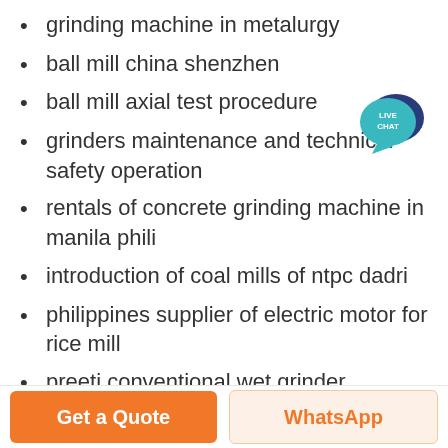grinding machine in metalurgy
ball mill china shenzhen
ball mill axial test procedure
grinders maintenance and technical safety operation
rentals of concrete grinding machine in manila phili
introduction of coal mills of ntpc dadri
philippines supplier of electric motor for rice mill
preeti conventional wet grinder
emery stone for wheel grinding
crushing stone equipment hammermill
[Figure (illustration): Live Chat speech bubble badge in teal/dark blue]
Get a Quote
WhatsApp